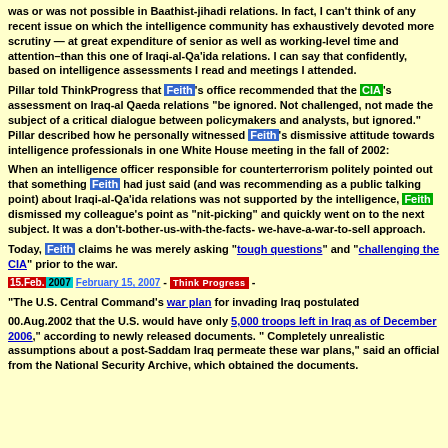was or was not possible in Baathist-jihadi relations. In fact, I can't think of any recent issue on which the intelligence community has exhaustively devoted more scrutiny — at great expenditure of senior as well as working-level time and attention–than this one of Iraqi-al-Qa'ida relations. I can say that confidently, based on intelligence assessments I read and meetings I attended.
Pillar told ThinkProgress that Feith's office recommended that the CIA's assessment on Iraq-al Qaeda relations "be ignored. Not challenged, not made the subject of a critical dialogue between policymakers and analysts, but ignored." Pillar described how he personally witnessed Feith's dismissive attitude towards intelligence professionals in one White House meeting in the fall of 2002:
When an intelligence officer responsible for counterterrorism politely pointed out that something Feith had just said (and was recommending as a public talking point) about Iraqi-al-Qa'ida relations was not supported by the intelligence, Feith dismissed my colleague's point as "nit-picking" and quickly went on to the next subject. It was a don't-bother-us-with-the-facts- we-have-a-war-to-sell approach.
Today, Feith claims he was merely asking "tough questions" and "challenging the CIA" prior to the war.
15.Feb.2007 February 15, 2007 - Think Progress -
"The U.S. Central Command's war plan for invading Iraq postulated
00.Aug.2002 that the U.S. would have only 5,000 troops left in Iraq as of December 2006," according to newly released documents. " Completely unrealistic assumptions about a post-Saddam Iraq permeate these war plans," said an official from the National Security Archive, which obtained the documents.